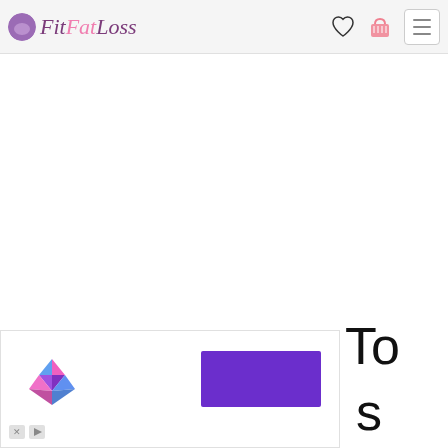FitFatLoss - website header with logo, heart icon, cart icon, and hamburger menu
[Figure (screenshot): Advertisement block at the bottom left showing a colorful diamond/gem logo icon and a purple rectangle button, with ad attribution icons (X and play button) at the bottom left]
To
s